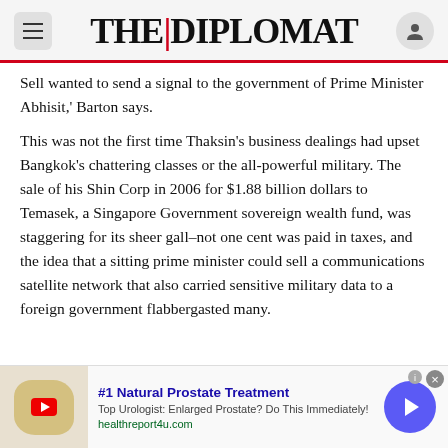THE DIPLOMAT
Sell wanted to send a signal to the government of Prime Minister Abhisit,' Barton says.
This was not the first time Thaksin's business dealings had upset Bangkok's chattering classes or the all-powerful military. The sale of his Shin Corp in 2006 for $1.88 billion dollars to Temasek, a Singapore Government sovereign wealth fund, was staggering for its sheer gall–not one cent was paid in taxes, and the idea that a sitting prime minister could sell a communications satellite network that also carried sensitive military data to a foreign government flabbergasted many.
[Figure (other): Advertisement banner: #1 Natural Prostate Treatment. Top Urologist: Enlarged Prostate? Do This Immediately! healthreport4u.com]